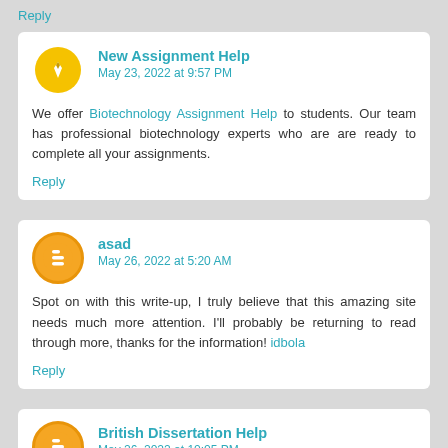Reply
New Assignment Help
May 23, 2022 at 9:57 PM
We offer Biotechnology Assignment Help to students. Our team has professional biotechnology experts who are are ready to complete all your assignments.
Reply
asad
May 26, 2022 at 5:20 AM
Spot on with this write-up, I truly believe that this amazing site needs much more attention. I'll probably be returning to read through more, thanks for the information! idbola
Reply
British Dissertation Help
May 26, 2022 at 10:05 PM
Dissertations are very hard. Are you someone that needs